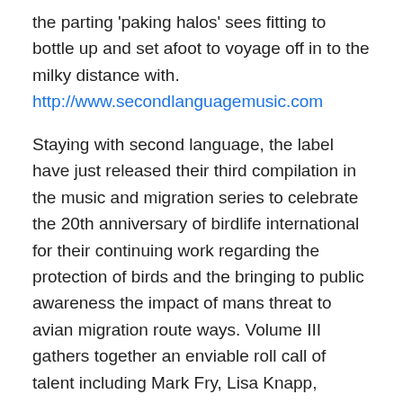the parting 'paking halos' sees fitting to bottle up and set afoot to voyage off in to the milky distance with. http://www.secondlanguagemusic.com
Staying with second language, the label have just released their third compilation in the music and migration series to celebrate the 20th anniversary of birdlife international for their continuing work regarding the protection of birds and the bringing to public awareness the impact of mans threat to avian migration route ways. Volume III gathers together an enviable roll call of talent including Mark Fry, Lisa Knapp, Sharron Kraus, Piano Magic, ISAN and more – details about the work birdlife undertakes can be found here – http://www.birdlife.org while by way of a taster the label have put out the ISAN track as a means of hooking you in – not that you needed